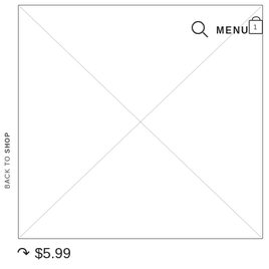[Figure (other): Placeholder image box with an X through it (diagonal lines corner to corner), with a border. Navigation elements visible: search icon, MENU text, and a shopping bag icon with number 1.]
BACK TO SHOP
↩ $5.99